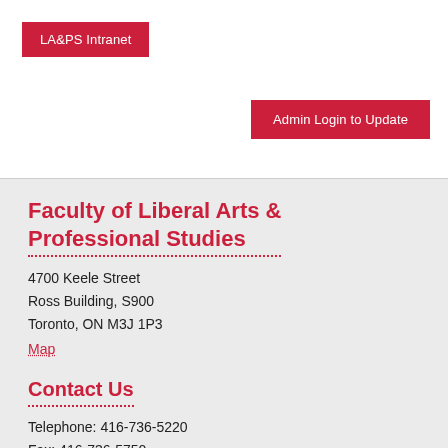LA&PS Intranet
Admin Login to Update
Faculty of Liberal Arts & Professional Studies
4700 Keele Street
Ross Building, S900
Toronto, ON M3J 1P3
Map
Contact Us
Telephone: 416-736-5220
Fax: 416-736-5750
Academic Advising